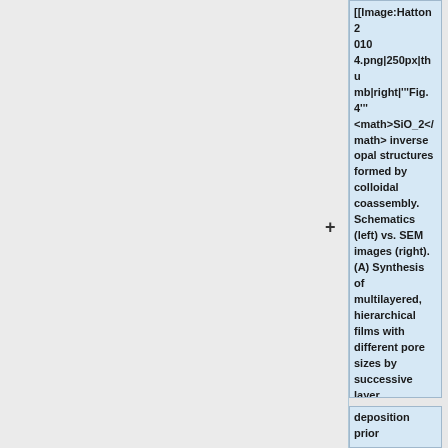[[Image:Hatton2010 4.png|250px|thumb|right|'''Fig. 4''' <math>SiO_2</math> inverse opal structures formed by colloidal coassembly. Schematics (left) vs. SEM images (right). (A) Synthesis of multilayered, hierarchical films with different pore sizes by successive layer
deposition prior